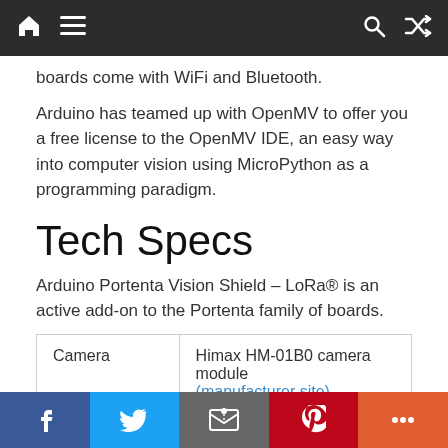Navigation bar with home, menu, search, and shuffle icons
boards come with WiFi and Bluetooth.
Arduino has teamed up with OpenMV to offer you a free license to the OpenMV IDE, an easy way into computer vision using MicroPython as a programming paradigm.
Tech Specs
Arduino Portenta Vision Shield – LoRa® is an active add-on to the Portenta family of boards.
| Camera |  |
| --- | --- |
| Camera | Himax HM-01B0 camera module (manufacturer site) |
Social share bar: Facebook, Twitter, Email, Pinterest, More